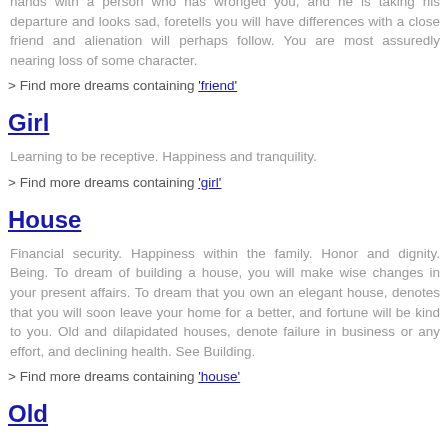hands with a person who has wronged you, and he is taking his departure and looks sad, foretells you will have differences with a close friend and alienation will perhaps follow. You are most assuredly nearing loss of some character.
> Find more dreams containing 'friend'
Girl
Learning to be receptive. Happiness and tranquility.
> Find more dreams containing 'girl'
House
Financial security. Happiness within the family. Honor and dignity. Being. To dream of building a house, you will make wise changes in your present affairs. To dream that you own an elegant house, denotes that you will soon leave your home for a better, and fortune will be kind to you. Old and dilapidated houses, denote failure in business or any effort, and declining health. See Building.
> Find more dreams containing 'house'
Old